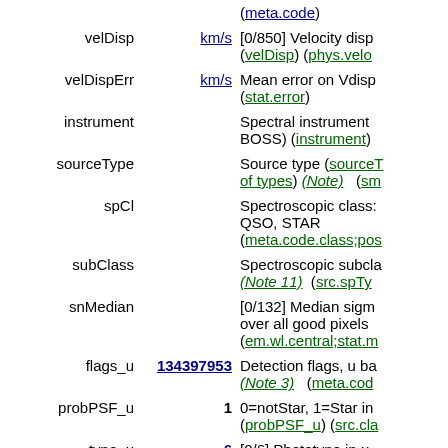| Name | Value | Description |
| --- | --- | --- |
| velDisp | km/s | [0/850] Velocity disp (velDisp) (phys.velo... |
| velDispErr | km/s | Mean error on Vdisp (stat.error) |
| instrument |  | Spectral instrument BOSS) (instrument) |
| sourceType |  | Source type (sourceT of types) (Note) (sm... |
| spCl |  | Spectroscopic class: QSO, STAR (meta.code.class;pos... |
| subClass |  | Spectroscopic subcl (Note 11) (src.spTy... |
| snMedian |  | [0/132] Median sigm over all good pixels (em.wl.central;stat.m... |
| flags_u | 134397953 | Detection flags, u ba (Note 3) (meta.cod... |
| probPSF_u | 1 | 0=notStar, 1=Star in (probPSF_u) (src.cla... |
| type_u | 6 | [0/6] Phototype in u (type_u) (Note 1) |